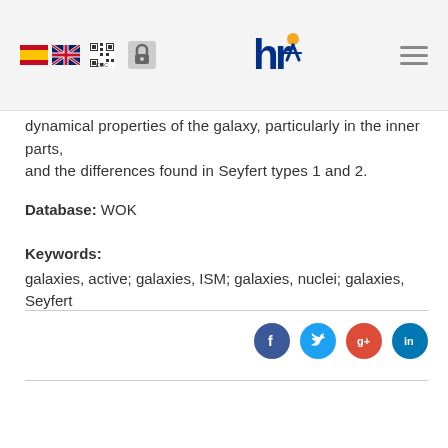Header with language flags (Spain, UK), CSIC logo, lock icon, hr logo, hamburger menu
dynamical properties of the galaxy, particularly in the inner parts, and the differences found in Seyfert types 1 and 2.
Database: WOK
Keywords:
galaxies, active; galaxies, ISM; galaxies, nuclei; galaxies, Seyfert
[Figure (other): Social media share buttons: Facebook (blue), Twitter (light blue), Google+ (red), LinkedIn (blue)]